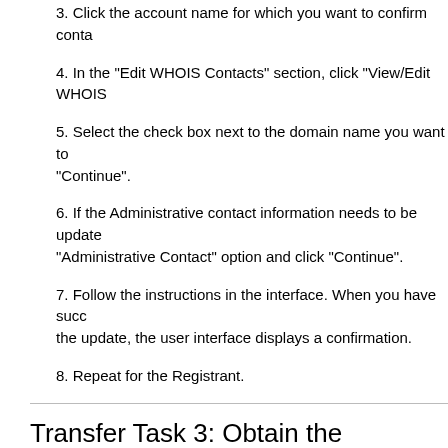3. Click the account name for which you want to confirm conta...
4. In the "Edit WHOIS Contacts" section, click "View/Edit WHOIS...
5. Select the check box next to the domain name you want to... "Continue".
6. If the Administrative contact information needs to be update... "Administrative Contact" option and click "Continue".
7. Follow the instructions in the interface. When you have succ... the update, the user interface displays a confirmation.
8. Repeat for the Registrant.
Transfer Task 3: Obtain the authorization code or re... name
Some TLDs require that you provide an authorization code for your do... provide an extra level of assurance that the transfer request comes fro... source.
To transfer a .com, .net, .org, .info, or .biz domain name, obta...